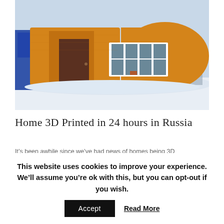[Figure (photo): A 3D-printed home in Russia with orange/yellow walls, curved and rectangular sections, a dark front door, and a white-framed window with four panes. Snow on the ground, blue building and industrial structure visible in background under overcast sky.]
Home 3D Printed in 24 hours in Russia
It's been awhile since we've had news of homes being 3D
This website uses cookies to improve your experience. We'll assume you're ok with this, but you can opt-out if you wish.